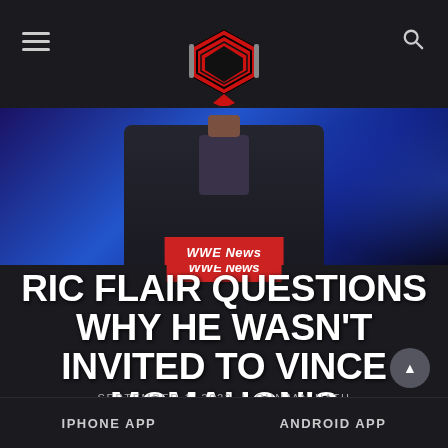WWE News website header with hamburger menu, wrestling ring logo, and search icon
[Figure (photo): A person in a dark suit and shirt, photographed from below the face against a blue-lit background]
WWE News
RIC FLAIR QUESTIONS WHY HE WASN'T INVITED TO VINCE MCMAHON'S BIRTHDAY PARTY
SEPTEMBER 1, 2022 | GUNJAN NATH
IPHONE APP    ANDROID APP